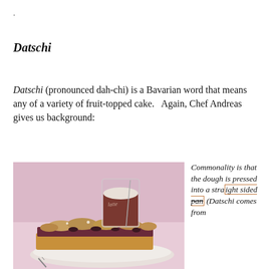.
Datschi
Datschi (pronounced dah-chi) is a Bavarian word that means any of a variety of fruit-topped cake.   Again, Chef Andreas gives us background:
[Figure (photo): A plate with a slice of fruit-topped crumble cake and a tall glass of latte or hot chocolate in the background, on a pink/white surface.]
Commonality is that the dough is pressed into a straight sided pan (Datschi comes from